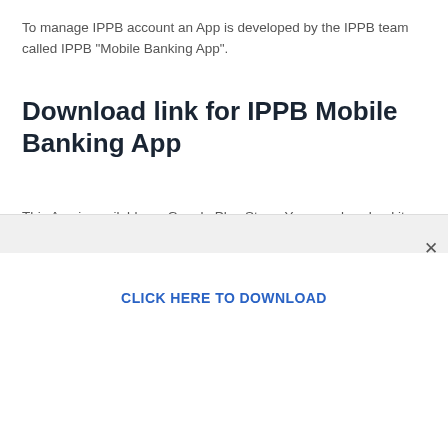To manage IPPB account an App is developed by the IPPB team called IPPB "Mobile Banking App".
Download link for IPPB Mobile Banking App
This App is available on Google Play Store. You can download it from the below link.
CLICK HERE TO DOWNLOAD